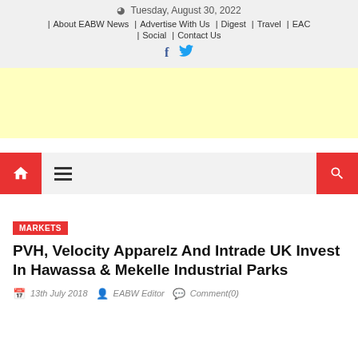Tuesday, August 30, 2022
| About EABW News | Advertise With Us | Digest | Travel | EAC | Social | Contact Us
[Figure (other): Social media icons: Facebook (f) and Twitter bird icon in blue]
[Figure (other): Yellow advertisement banner]
[Figure (other): Navigation bar with red home icon, hamburger menu, and red search icon]
MARKETS
PVH, Velocity Apparelz And Intrade UK Invest In Hawassa & Mekelle Industrial Parks
13th July 2018  EABW Editor  Comment(0)